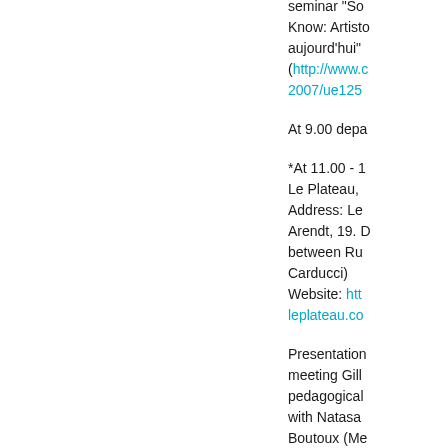seminar "So Know: Artisto aujourd'hui" (http://www.c 2007/ue125
At 9.00 depa
*At 11.00 - 1 Le Plateau, Address: Le Arendt, 19. D between Ru Carducci) Website: htt leplateau.co
Presentation meeting Gill pedagogical with Natasa Boutoux (Me Francois Pir
PRESENTAT Société Ano March 2007)
Meeting Mar